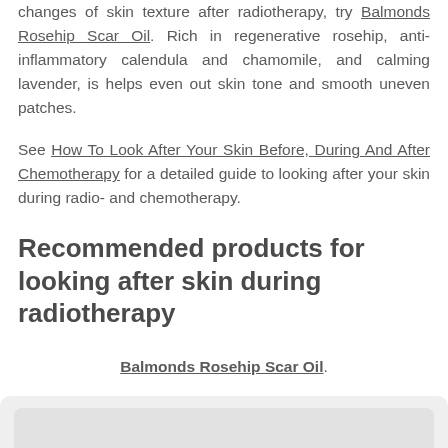changes of skin texture after radiotherapy, try Balmonds Rosehip Scar Oil. Rich in regenerative rosehip, anti-inflammatory calendula and chamomile, and calming lavender, is helps even out skin tone and smooth uneven patches.
See How To Look After Your Skin Before, During And After Chemotherapy for a detailed guide to looking after your skin during radio- and chemotherapy.
Recommended products for looking after skin during radiotherapy
Balmonds Rosehip Scar Oil.